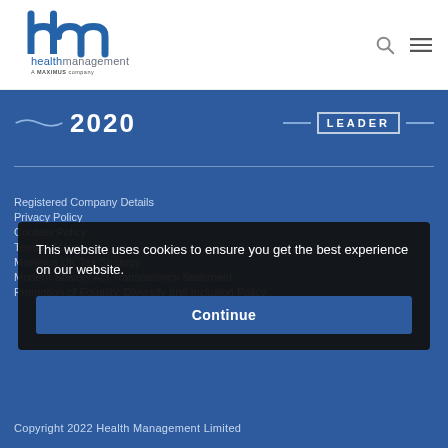[Figure (logo): Health Management - A MAXIMUS company logo, with stylized 'hm' letters in blue and the company name in blue and grey text]
[Figure (other): Search icon (magnifying glass) and hamburger menu icon in the top-right header]
2020
LEADER
Registered Company Details
Privacy Policy
Cookies Policy
Terms of Use
Maximus UK Tax Strategy
Modern Slavery Act Transparency Statement
Promotion of Equality, Diversity and Inclusion Policy
This website uses cookies to ensure you get the best experience on our website.
Continue
Copyright 2022 Health Management Limited